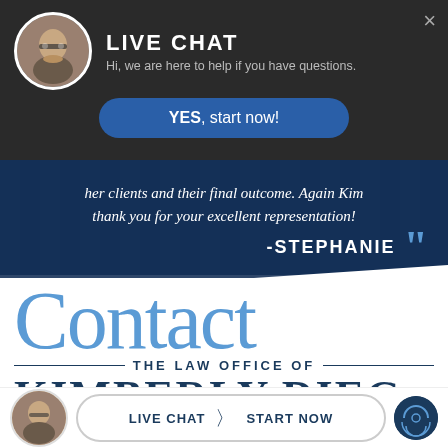[Figure (screenshot): Live chat popup overlay on a law firm website showing an avatar of a woman with glasses, 'LIVE CHAT' heading, subtitle text, and a YES start now button]
LIVE CHAT
Hi, we are here to help if you have questions.
YES, start now!
her clients and their final outcome. Again Kim thank you for your excellent representation!
-STEPHANIE
Contact
— THE LAW OFFICE OF —
KIMBERLY DIEGO
LIVE CHAT | START NOW